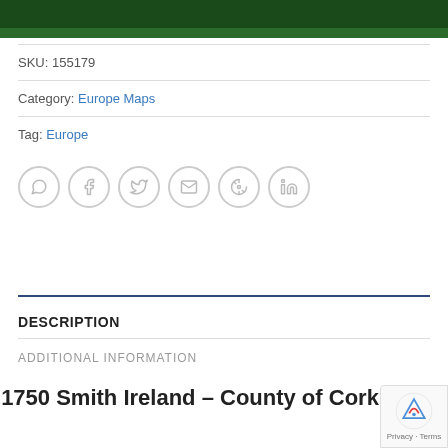PRINTSZLERS (header navigation bar)
SKU: 155179
Category: Europe Maps
Tag: Europe
[Figure (other): Row of 6 social share icon buttons: WhatsApp, Facebook, Twitter, Email, Pinterest, LinkedIn — all circular with light grey outlines]
DESCRIPTION
ADDITIONAL INFORMATION
1750 Smith Ireland – County of Cork